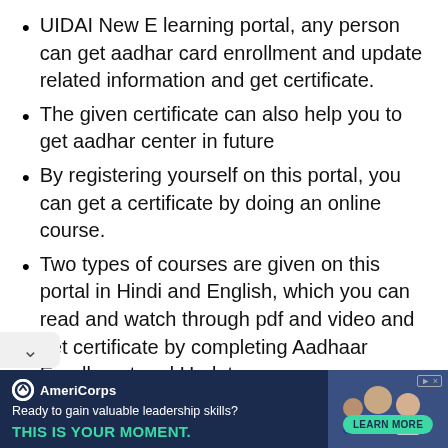UIDAI New E learning portal, any person can get aadhar card enrollment and update related information and get certificate.
The given certificate can also help you to get aadhar center in future
By registering yourself on this portal, you can get a certificate by doing an online course.
Two types of courses are given on this portal in Hindi and English, which you can read and watch through pdf and video and get certificate by completing Aadhaar Enrollment and Update course.
Through which they can easily do all the
[Figure (screenshot): AmeriCorps advertisement banner with dark navy background. Logo and brand name on left, tagline 'Ready to gain valuable leadership skills?' and 'THIS IS YOUR MOMENT.' in teal, with a 'LEARN MORE' button. Photo of people on the right side.]